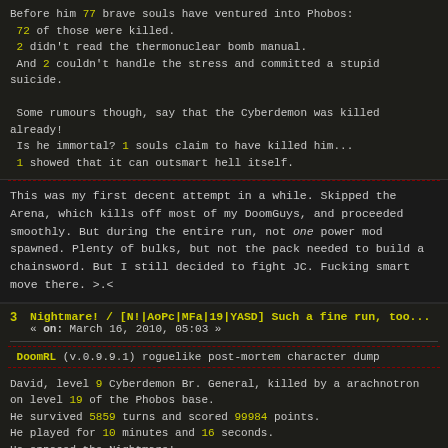Before him 77 brave souls have ventured into Phobos: 72 of those were killed. 2 didn't read the thermonuclear bomb manual. And 2 couldn't handle the stress and committed a stupid suicide.

Some rumours though, say that the Cyberdemon was killed already! Is he immortal? 1 souls claim to have killed him... 1 showed that it can outsmart hell itself.
This was my first decent attempt in a while. Skipped the Arena, which kills off most of my DoomGuys, and proceeded smoothly. But during the entire run, not one power mod spawned. Plenty of bulks, but not the pack needed to build a chainsword. But I still decided to fight JC. Fucking smart move there. >.<
3 Nightmare! / [N!|AoPc|MFa|19|YASD] Such a fine run, too... « on: March 16, 2010, 05:03 »
DoomRL (v.0.9.9.1) roguelike post-mortem character dump
David, level 9 Cyberdemon Br. General, killed by a arachnotron on level 19 of the Phobos base. He survived 5859 turns and scored 99984 points. He played for 10 minutes and 16 seconds. He opposed the Nightmare!
He killed 77 out of 671 hellspawn. (11%)